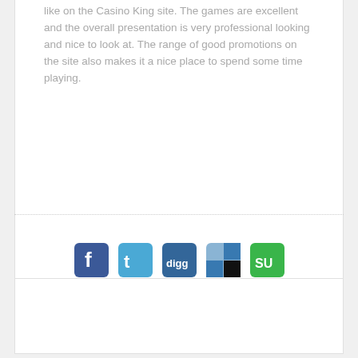like on the Casino King site. The games are excellent and the overall presentation is very professional looking and nice to look at. The range of good promotions on the site also makes it a nice place to spend some time playing.
[Figure (infographic): Row of five social media share buttons: Facebook (blue), Twitter (blue), Digg (blue), Delicious (blue/white), StumbleUpon (green)]